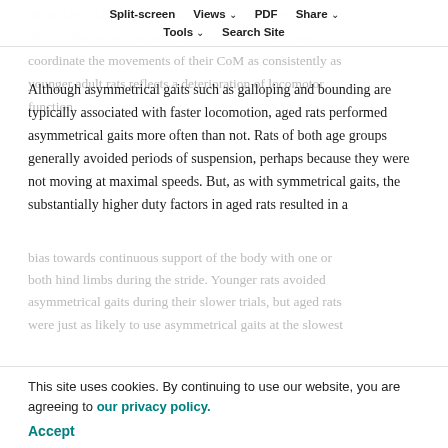Split-screen  Views  PDF  Share  Tools  Search Site
debatable if black and Smith/Ica. 1994; Kelly et al., 2001), the fact that aging rats are not to be able to consistently coordinate the movements of their CoM as consistently as younger adult rats reflects a deterioration of locomotor function.
Although asymmetrical gaits such as galloping and bounding are typically associated with faster locomotion, aged rats performed asymmetrical gaits more often than not. Rats of both age groups generally avoided periods of suspension, perhaps because they were not moving at maximal speeds. But, as with symmetrical gaits, the substantially higher duty factors in aged rats resulted in a
bias towards continuous support of the body with one or both hind limbs during the stride. Younger rats avoided asymmetrical gaits during their slower trials, but aged rats were just as likely to use asymmetrical gaits at the slowest
This site uses cookies. By continuing to use our website, you are agreeing to our privacy policy. Accept